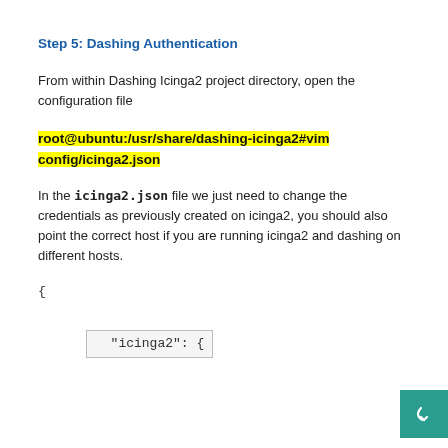Step 5: Dashing Authentication
From within Dashing Icinga2 project directory, open the configuration file
root@ubuntu:/usr/share/dashing-icinga2#vim config/icinga2.json
In the icinga2.json file we just need to change the credentials as previously created on icinga2, you should also point the correct host if you are running icinga2 and dashing on different hosts.
{

        "icinga2": {